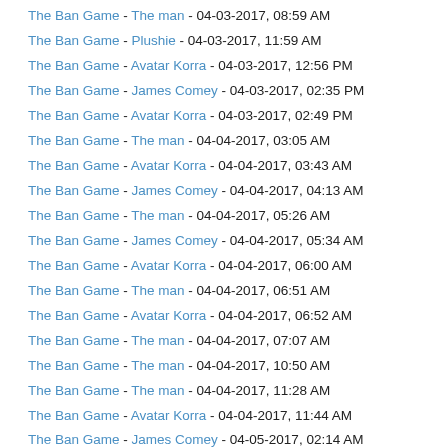The Ban Game - The man - 04-03-2017, 08:59 AM
The Ban Game - Plushie - 04-03-2017, 11:59 AM
The Ban Game - Avatar Korra - 04-03-2017, 12:56 PM
The Ban Game - James Comey - 04-03-2017, 02:35 PM
The Ban Game - Avatar Korra - 04-03-2017, 02:49 PM
The Ban Game - The man - 04-04-2017, 03:05 AM
The Ban Game - Avatar Korra - 04-04-2017, 03:43 AM
The Ban Game - James Comey - 04-04-2017, 04:13 AM
The Ban Game - The man - 04-04-2017, 05:26 AM
The Ban Game - James Comey - 04-04-2017, 05:34 AM
The Ban Game - Avatar Korra - 04-04-2017, 06:00 AM
The Ban Game - The man - 04-04-2017, 06:51 AM
The Ban Game - Avatar Korra - 04-04-2017, 06:52 AM
The Ban Game - The man - 04-04-2017, 07:07 AM
The Ban Game - The man - 04-04-2017, 10:50 AM
The Ban Game - The man - 04-04-2017, 11:28 AM
The Ban Game - Avatar Korra - 04-04-2017, 11:44 AM
The Ban Game - James Comey - 04-05-2017, 02:14 AM
The Ban Game - The man - 04-05-2017, 02:40 AM
The Ban Game - Avatar Korra - 04-05-2017, 03:42 AM
RE: The Ban Game - The man - 04-05-2017, 04:27 AM
The Ban Game - James Comey - 04-05-2017, 05:22 AM
The Ban Game - The man - 04-05-2017, 05:56 AM